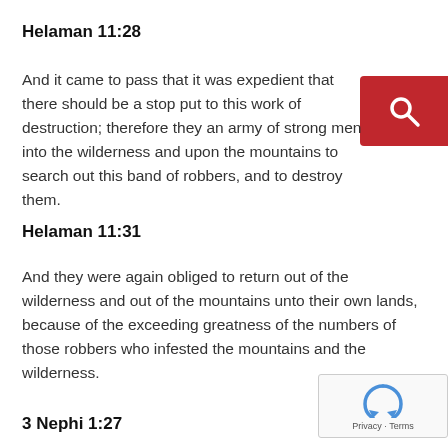Helaman 11:28
And it came to pass that it was expedient that there should be a stop put to this work of destruction; therefore they an army of strong men into the wilderness and upon the mountains to search out this band of robbers, and to destroy them.
Helaman 11:31
And they were again obliged to return out of the wilderness and out of the mountains unto their own lands, because of the exceeding greatness of the numbers of those robbers who infested the mountains and the wilderness.
3 Nephi 1:27